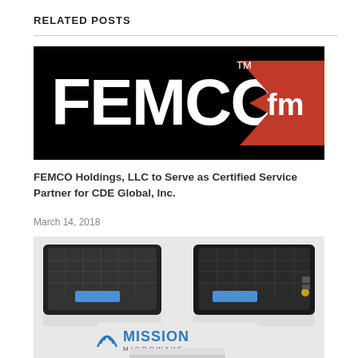RELATED POSTS
[Figure (logo): FEMCO Holdings logo — black background with large white text 'FEMCO' and a red triangle pointing left with 'fm' in white, plus TM mark]
FEMCO Holdings, LLC to Serve as Certified Service Partner for CDE Global, Inc.
March 14, 2018
[Figure (photo): Two black rugged electronic hardware units (satellite modems/amplifiers) shown from above at an angle, with Mission Microwave logo and branding below, and a white unit partially visible at the bottom]